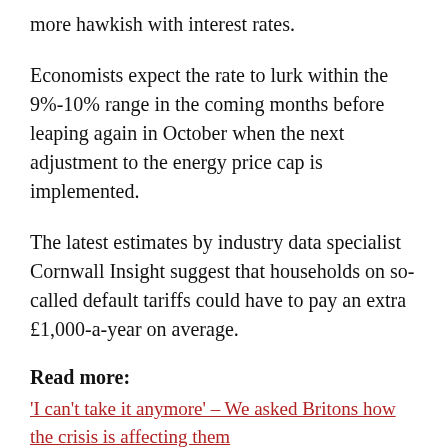more hawkish with interest rates.
Economists expect the rate to lurk within the 9%-10% range in the coming months before leaping again in October when the next adjustment to the energy price cap is implemented.
The latest estimates by industry data specialist Cornwall Insight suggest that households on so-called default tariffs could have to pay an extra £1,000-a-year on average.
Read more:
‘I can’t take it anymore’ – We asked Britons how the crisis is affecting them
Food inflation to accelerate over summer and prices to stay high